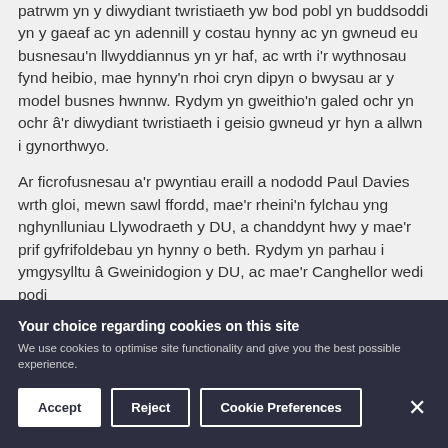patrwm yn y diwydiant twristiaeth yw bod pobl yn buddsoddi yn y gaeaf ac yn adennill y costau hynny ac yn gwneud eu busnesau'n llwyddiannus yn yr haf, ac wrth i'r wythnosau fynd heibio, mae hynny'n rhoi cryn dipyn o bwysau ar y model busnes hwnnw. Rydym yn gweithio'n galed ochr yn ochr â'r diwydiant twristiaeth i geisio gwneud yr hyn a allwn i gynorthwyo.
Ar ficrofusnesau a'r pwyntiau eraill a nododd Paul Davies wrth gloi, mewn sawl ffordd, mae'r rheini'n fylchau yng nghynlluniau Llywodraeth y DU, a chanddynt hwy y mae'r prif gyfrifoldebau yn hynny o beth. Rydym yn parhau i ymgysylltu â Gweinidogion y DU, ac mae'r Canghellor wedi podi
Your choice regarding cookies on this site
We use cookies to optimise site functionality and give you the best possible experience.